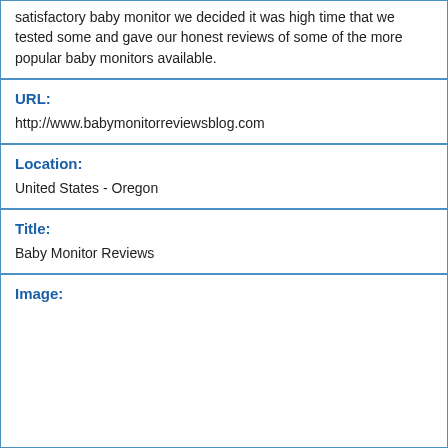satisfactory baby monitor we decided it was high time that we tested some and gave our honest reviews of some of the more popular baby monitors available.
URL: http://www.babymonitorreviewsblog.com
Location: United States - Oregon
Title: Baby Monitor Reviews
Image: